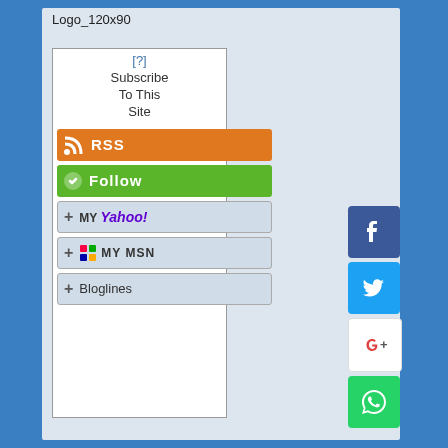Logo_120x90
[Figure (screenshot): Subscribe widget with RSS, Follow, My Yahoo, My MSN, and Bloglines subscription buttons inside a bordered box]
[Figure (infographic): Social sharing buttons column: Facebook, Twitter, Google+, WhatsApp]